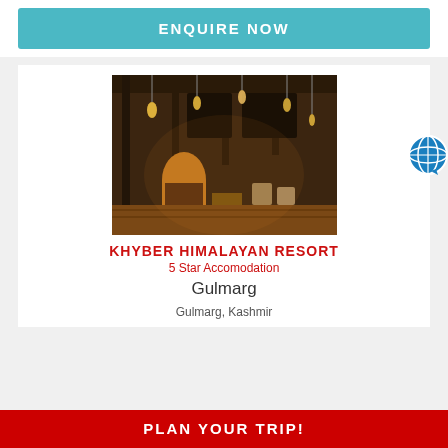ENQUIRE NOW
[Figure (photo): Interior of Khyber Himalayan Resort showing a grand wooden hall with hanging lanterns, arched doorways, and warm ambient lighting]
KHYBER HIMALAYAN RESORT
5 Star Accomodation
Gulmarg
Gulmarg, Kashmir
PLAN YOUR TRIP!